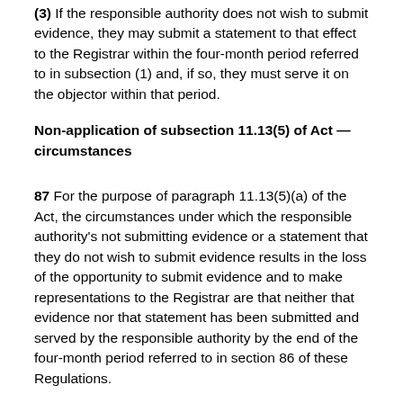(3) If the responsible authority does not wish to submit evidence, they may submit a statement to that effect to the Registrar within the four-month period referred to in subsection (1) and, if so, they must serve it on the objector within that period.
Non-application of subsection 11.13(5) of Act — circumstances
87 For the purpose of paragraph 11.13(5)(a) of the Act, the circumstances under which the responsible authority's not submitting evidence or a statement that they do not wish to submit evidence results in the loss of the opportunity to submit evidence and to make representations to the Registrar are that neither that evidence nor that statement has been submitted and served by the responsible authority by the end of the four-month period referred to in section 86 of these Regulations.
Circumstances — indication or translation not